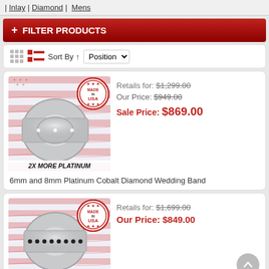| Inlay | Diamond | Mens
+ FILTER PRODUCTS
Sort By ↑ Position
[Figure (photo): Silver diamond ring on American flag background with Made in USA badge and '2X MORE PLATINUM' label]
Retails for: $1,299.00
Our Price: $949.00
Sale Price: $869.00
6mm and 8mm Platinum Cobalt Diamond Wedding Band
[Figure (photo): Silver ring with black diamonds on American flag background with Made in USA badge]
Retails for: $1,699.00
Our Price: $849.00